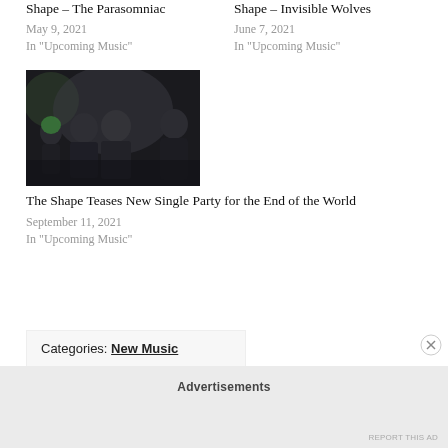Shape – The Parasomniac
May 9, 2021
In "Upcoming Music"
Shape – Invisible Wolves
June 7, 2021
In "Upcoming Music"
[Figure (photo): Band photo of The Shape – dark background with four band members]
The Shape Teases New Single Party for the End of the World
September 11, 2021
In "Upcoming Music"
Categories: New Music
Advertisements